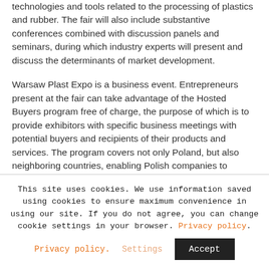technologies and tools related to the processing of plastics and rubber. The fair will also include substantive conferences combined with discussion panels and seminars, during which industry experts will present and discuss the determinants of market development.
Warsaw Plast Expo is a business event. Entrepreneurs present at the fair can take advantage of the Hosted Buyers program free of charge, the purpose of which is to provide exhibitors with specific business meetings with potential buyers and recipients of their products and services. The program covers not only Poland, but also neighboring countries, enabling Polish companies to expand into foreign markets. Meeting with
This site uses cookies. We use information saved using cookies to ensure maximum convenience in using our site. If you do not agree, you can change cookie settings in your browser. Privacy policy.
Settings
Accept